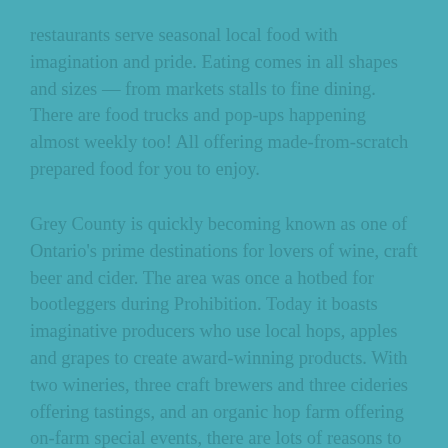restaurants serve seasonal local food with imagination and pride. Eating comes in all shapes and sizes — from markets stalls to fine dining. There are food trucks and pop-ups happening almost weekly too! All offering made-from-scratch prepared food for you to enjoy.
Grey County is quickly becoming known as one of Ontario's prime destinations for lovers of wine, craft beer and cider. The area was once a hotbed for bootleggers during Prohibition. Today it boasts imaginative producers who use local hops, apples and grapes to create award-winning products. With two wineries, three craft brewers and three cideries offering tastings, and an organic hop farm offering on-farm special events, there are lots of reasons to raise a glass to (or in) Grey.